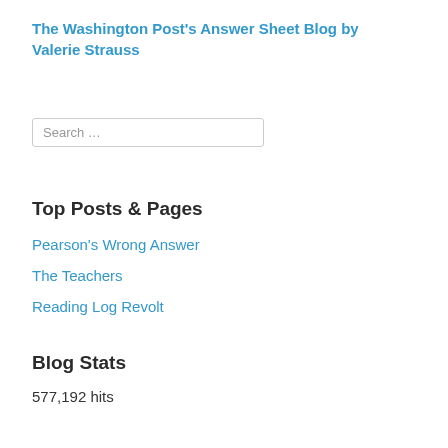The Washington Post's Answer Sheet Blog by Valerie Strauss
Search …
Top Posts & Pages
Pearson's Wrong Answer
The Teachers
Reading Log Revolt
Blog Stats
577,192 hits